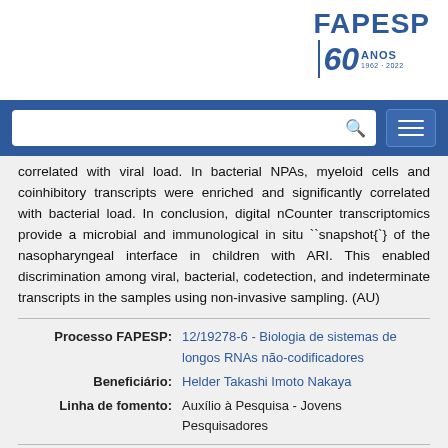[Figure (logo): FAPESP 60 ANOS logo (1962-2022) in blue]
[Figure (screenshot): Blue navigation bar with search box and hamburger menu]
correlated with viral load. In bacterial NPAs, myeloid cells and coinhibitory transcripts were enriched and significantly correlated with bacterial load. In conclusion, digital nCounter transcriptomics provide a microbial and immunological in situ ``snapshot{'}  of the nasopharyngeal interface in children with ARI. This enabled discrimination among viral, bacterial, codetection, and indeterminate transcripts in the samples using non-invasive sampling. (AU)
| Processo FAPESP: | 12/19278-6 - Biologia de sistemas de longos RNAs não-codificadores |
| Beneficiário: | Helder Takashi Imoto Nakaya |
| Linha de fomento: | Auxílio à Pesquisa - Jovens Pesquisadores |
| Processo FAPESP: | 17/50137-3 - Long noncoding RNA interplay with the host microbiome |